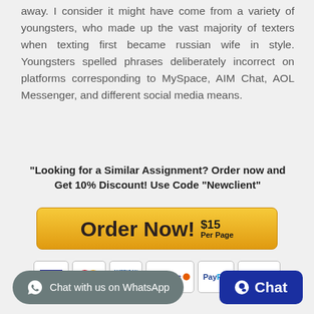away. I consider it might have come from a variety of youngsters, who made up the vast majority of texters when texting first became russian wife in style. Youngsters spelled phrases deliberately incorrect on platforms corresponding to MySpace, AIM Chat, AOL Messenger, and different social media means.
"Looking for a Similar Assignment? Order now and Get 10% Discount! Use Code "Newclient"
[Figure (other): Orange gradient Order Now button with $15 Per Page pricing]
[Figure (other): Payment icons: VISA, MasterCard, American Express, Discover, PayPal, 100% Secure]
[Figure (other): Chat with us on WhatsApp button (gray rounded) and Chat button (dark blue)]